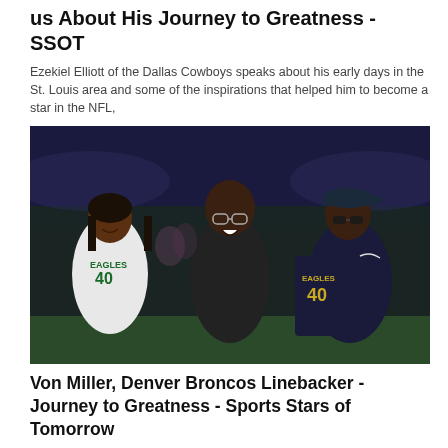us About His Journey to Greatness - SSOT
Ezekiel Elliott of the Dallas Cowboys speaks about his early days in the St. Louis area and some of the inspirations that helped him to become a star in the NFL,
10/25/19
[Figure (photo): Three people standing on a football field at night. A woman on the left wearing a white Eagles #40 jersey, a tall man in the center wearing dark clothes, and a man on the right holding up a dark Eagles #40 jersey.]
Von Miller, Denver Broncos Linebacker - Journey to Greatness - Sports Stars of Tomorrow